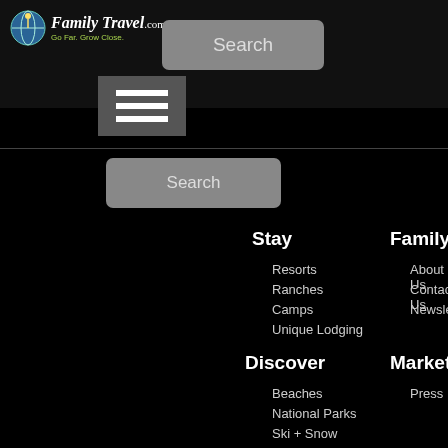[Figure (logo): FamilyTravel.com logo with globe icon and tagline 'Go Far. Grow Close.']
[Figure (screenshot): Search button in header]
[Figure (screenshot): Hamburger menu button]
[Figure (screenshot): Search button in main content area]
Stay
Resorts
Ranches
Camps
Unique Lodging
FamilyTravel.com
About Us
Contact Us
Newsletter Sign Up
Discover
Beaches
National Parks
Ski + Snow
Theme Parks
Marketing
Press